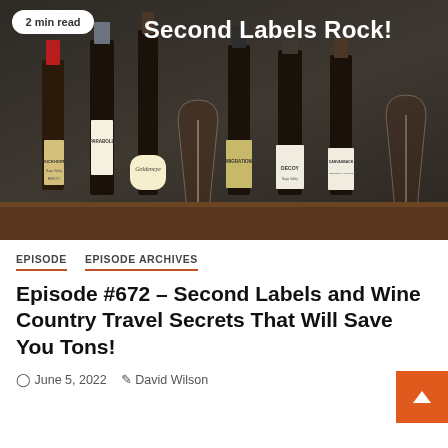[Figure (photo): Photo of multiple wine bottles (Duckhorn, Paraboll, Goldeneye, Migration, Decoy, Canvasback) arranged on a dark background with a wine glass, with text 'Second Labels Rock!' and '2 min read' badge overlay]
EPISODE   EPISODE ARCHIVES
Episode #672 – Second Labels and Wine Country Travel Secrets That Will Save You Tons!
June 5, 2022   David Wilson